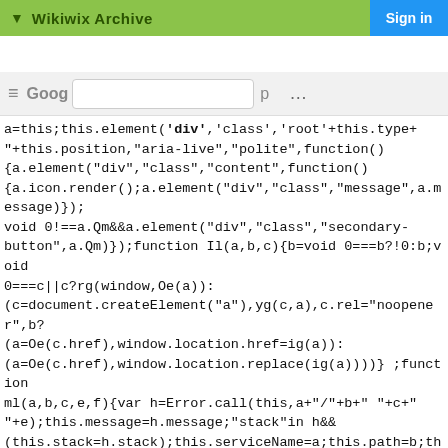▼ Wikiwix Archive
Sign in
≡  Goog  { ...  p  ...
a=this;this.element('div','class','root'+this.type+"+this.position,"aria-live","polite",function(){a.element("div","class","content",function(){a.icon.render();a.element("div","class","message",a.message)});void 0!==a.Qm&&a.element("div","class","secondary-button",a.Qm)});function Il(a,b,c){b=void 0===b?!0:b;void 0===c||c?rg(window,Oe(a)):(c=document.createElement("a"),yg(c,a),c.rel="noopener",b?(a=Oe(c.href),window.location.href=ig(a)):(a=Oe(c.href),window.location.replace(ig(a))))} ;function ml(a,b,c,e,f){var h=Error.call(this,a+"/"+b+" "+c+" "+e);this.message=h.message;"stack"in h&&(this.stack=h.stack);this.serviceName=a;this.path=b;this.type=c;y(ml,Error);function nl(a){var b=a.serviceName;this.uf=a.uf;this.serviceName=b}nl.prototype.get=function(a,b,c,e){c=void 0===c?{}:c;e=void 0===e?new XMLHttpRequest:e;return ue(this,function h(){var k=this,l;return mb(h,function(n){if(1==n.o)return Ra(n,k.call("GET",a,c,e,"application/json+protobuf"),2);l=n.ha;try{n.return(ie(b,l))}catch(r){throw ol(k,a),r}})})};function pl(a,b,c)